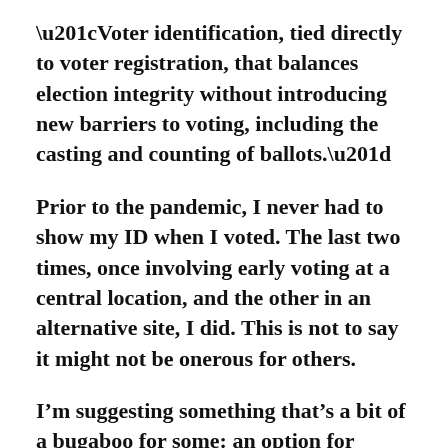“Voter identification, tied directly to voter registration, that balances election integrity without introducing new barriers to voting, including the casting and counting of ballots.”
Prior to the pandemic, I never had to show my ID when I voted. The last two times, once involving early voting at a central location, and the other in an alternative site, I did. This is not to say it might not be onerous for others.
I’m suggesting something that’s a bit of a bugaboo for some: an option for people to receive an identification card that is FREE and not onerous to obtain. Or, in the alternative, a